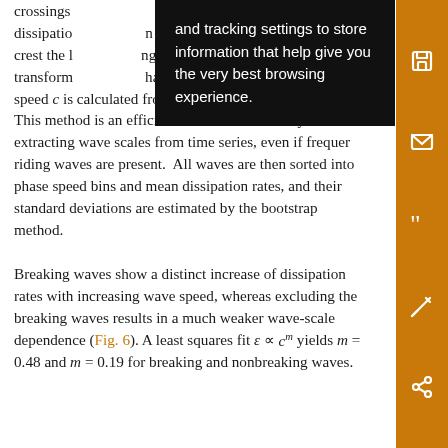crossings and tracking settings to store mean dissipation information that help give you the very best browsing experience. wave crest the best browsing experience. ng transformations phase speed c is calculated from the linear dispersion relation. This method is an efficient scheme for correctly extracting wave scales from time series, even if frequency riding waves are present. All waves are then sorted into phase speed bins and mean dissipation rates, and their standard deviations are estimated by the bootstrap method.
Breaking waves show a distinct increase of dissipation rates with increasing wave speed, whereas excluding the breaking waves results in a much weaker wave-scale dependence (Fig. 6). A least squares fit ε ∝ c^m yields m = 0.48 and m = 0.19 for breaking and nonbreaking waves.